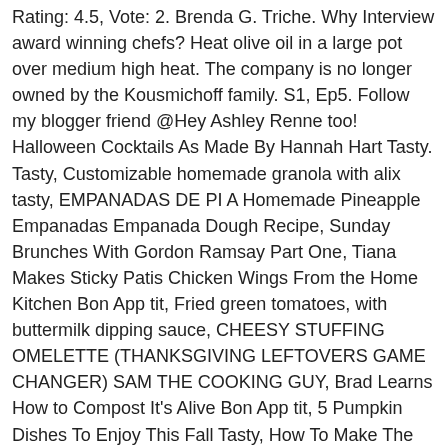Rating: 4.5, Vote: 2. Brenda G. Triche. Why Interview award winning chefs? Heat olive oil in a large pot over medium high heat. The company is no longer owned by the Kousmichoff family. S1, Ep5. Follow my blogger friend @Hey Ashley Renne too! Halloween Cocktails As Made By Hannah Hart Tasty. Tasty, Customizable homemade granola with alix tasty, EMPANADAS DE PI A Homemade Pineapple Empanadas Empanada Dough Recipe, Sunday Brunches With Gordon Ramsay Part One, Tiana Makes Sticky Patis Chicken Wings From the Home Kitchen Bon App tit, Fried green tomatoes, with buttermilk dipping sauce, CHEESY STUFFING OMELETTE (THANKSGIVING LEFTOVERS GAME CHANGER) SAM THE COOKING GUY, Brad Learns How to Compost It's Alive Bon App tit, 5 Pumpkin Dishes To Enjoy This Fall Tasty, How To Make The Best Vegan Burger By Rachel Tasty, Tasty's 5 Classic Chocolate Desserts Tasty, 5 Delicious Donut Recipes To Warm Your Soul Tasty, 4 Quick Appetizers For Your Next Gathering Tasty, Can This Chef Make A 3-Course Meal With A Microwave Again? 4. See more ideas about Recipes, Food, Cooking recipes. In fact, it nearly killed her! 13+ Subtitles. Add Image. S1, Ep21. I love edible history.